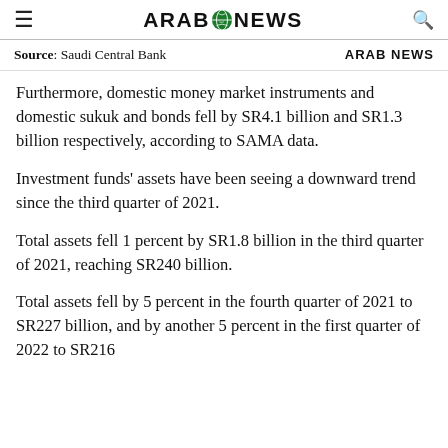ARAB NEWS
Source: Saudi Central Bank   ARAB NEWS
Furthermore, domestic money market instruments and domestic sukuk and bonds fell by SR4.1 billion and SR1.3 billion respectively, according to SAMA data.
Investment funds' assets have been seeing a downward trend since the third quarter of 2021.
Total assets fell 1 percent by SR1.8 billion in the third quarter of 2021, reaching SR240 billion.
Total assets fell by 5 percent in the fourth quarter of 2021 to SR227 billion, and by another 5 percent in the first quarter of 2022 to SR216